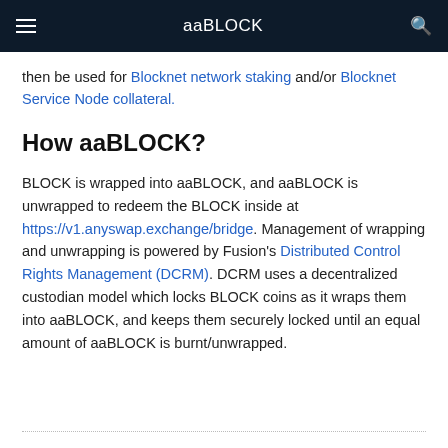aaBLOCK
then be used for Blocknet network staking and/or Blocknet Service Node collateral.
How aaBLOCK?
BLOCK is wrapped into aaBLOCK, and aaBLOCK is unwrapped to redeem the BLOCK inside at https://v1.anyswap.exchange/bridge. Management of wrapping and unwrapping is powered by Fusion's Distributed Control Rights Management (DCRM). DCRM uses a decentralized custodian model which locks BLOCK coins as it wraps them into aaBLOCK, and keeps them securely locked until an equal amount of aaBLOCK is burnt/unwrapped.